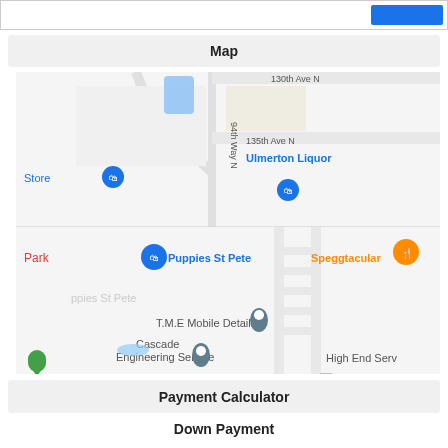[Figure (map): Google Maps screenshot showing streets in a St. Pete/Ulmerton area with pins for Puppies St Pete, Ulmerton Liquor, T.M.E Mobile Detailing, Cascade Engineering Service, Speggtacular, High End Serv, and other locations. Streets visible include 135th Ave N and 94th Way N.]
Map
Payment Calculator
Down Payment